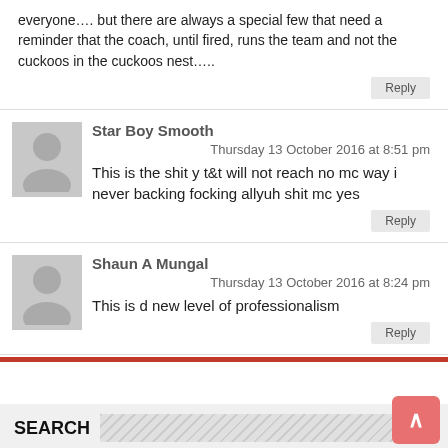everyone…. but there are always a special few that need a reminder that the coach, until fired, runs the team and not the cuckoos in the cuckoos nest…..
Star Boy Smooth
Thursday 13 October 2016 at 8:51 pm
This is the shit y t&t will not reach no mc way i never backing focking allyuh shit mc yes
Shaun A Mungal
Thursday 13 October 2016 at 8:24 pm
This is d new level of professionalism
SEARCH